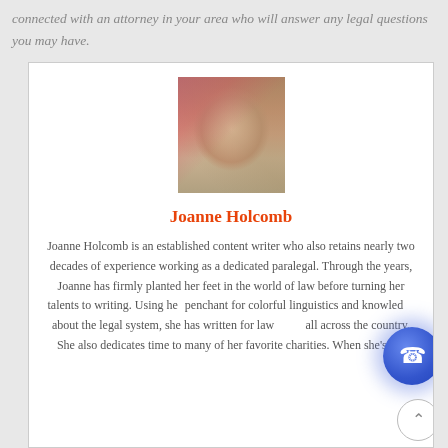connected with an attorney in your area who will answer any legal questions you may have.
[Figure (photo): Headshot of Joanne Holcomb, a woman with pink/red short hair, smiling, with bookshelves in the background]
Joanne Holcomb
Joanne Holcomb is an established content writer who also retains nearly two decades of experience working as a dedicated paralegal. Through the years, Joanne has firmly planted her feet in the world of law before turning her talents to writing. Using her penchant for colorful linguistics and knowledge about the legal system, she has written for law firms all across the country. She also dedicates time to many of her favorite charities. When she's not